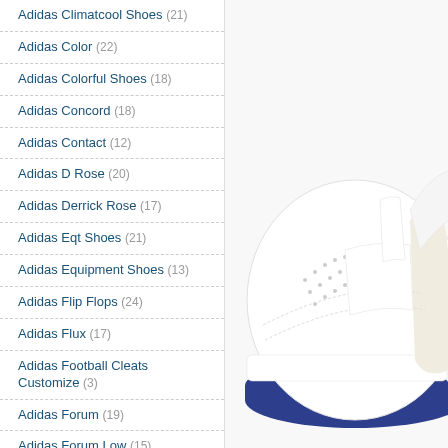Adidas Climatcool Shoes (21)
Adidas Color (22)
Adidas Colorful Shoes (18)
Adidas Concord (18)
Adidas Contact (12)
Adidas D Rose (20)
Adidas Derrick Rose (17)
Adidas Eqt Shoes (21)
Adidas Equipment Shoes (13)
Adidas Flip Flops (24)
Adidas Flux (17)
Adidas Football Cleats Customize (3)
Adidas Forum (19)
Adidas Forum Low (15)
Adidas Forum Mid (19)
Adidas Gazelle Pink (17)
[Figure (photo): Close-up photo of a white Adidas shoe with a blue sole and small perforations on the upper leather.]